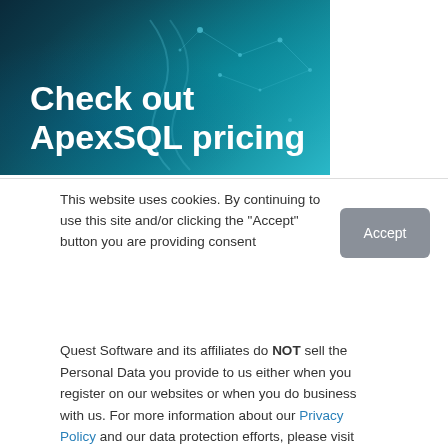[Figure (photo): Dark teal/blue technology background with DNA helix or network visualization, overlaid with the text 'Check out ApexSQL pricing' in white bold font]
This website uses cookies. By continuing to use this site and/or clicking the "Accept" button you are providing consent
Accept
Quest Software and its affiliates do NOT sell the Personal Data you provide to us either when you register on our websites or when you do business with us. For more information about our Privacy Policy and our data protection efforts, please visit GDPR-HQ